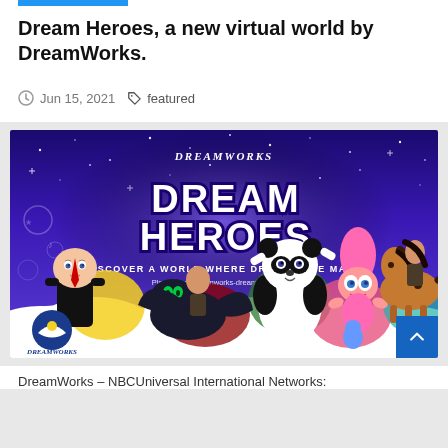Dream Heroes, a new virtual world by DreamWorks.
Jun 15, 2021  featured
[Figure (illustration): DreamWorks Dream Heroes promotional banner with purple/blue night sky background, showing characters from Boss Baby, How to Train Your Dragon, Kung Fu Panda, Trolls, and Spirit, along with the text DREAM HEROES, DISCOVER A WORLD WHERE DREAMS ARE MADE, Play now at dreamworks-dreamheroes.com]
DreamWorks – NBCUniversal International Networks: